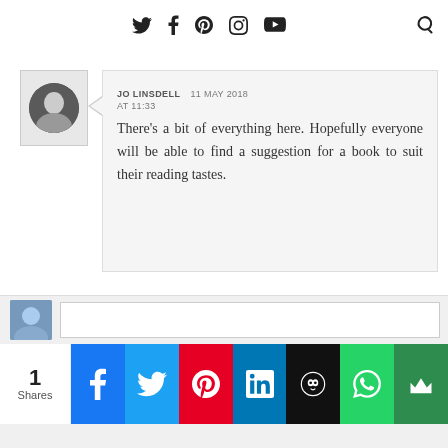Twitter Facebook Pinterest Instagram YouTube [search]
JO LINSDELL  11 MAY 2018 AT 11:33
There's a bit of everything here. Hopefully everyone will be able to find a suggestion for a book to suit their reading tastes.
Reply
1 Shares | Facebook Twitter Pinterest LinkedIn Hootsuite WhatsApp Crown